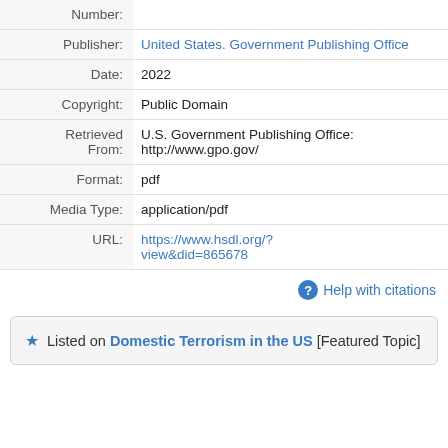| Field | Value |
| --- | --- |
| Number: |  |
| Publisher: | United States. Government Publishing Office |
| Date: | 2022 |
| Copyright: | Public Domain |
| Retrieved From: | U.S. Government Publishing Office:
http://www.gpo.gov/ |
| Format: | pdf |
| Media Type: | application/pdf |
| URL: | https://www.hsdl.org/?view&did=865678 |
Help with citations
Listed on Domestic Terrorism in the US [Featured Topic]